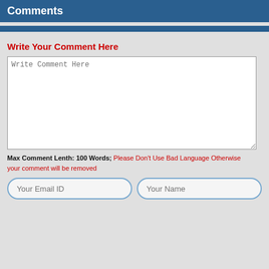Comments
Write Your Comment Here
Write Comment Here
Max Comment Lenth: 100 Words; Please Don't Use Bad Language Otherwise your comment will be removed
Your Email ID
Your Name